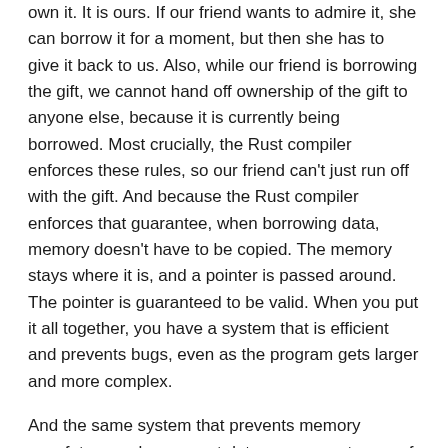own it. It is ours. If our friend wants to admire it, she can borrow it for a moment, but then she has to give it back to us. Also, while our friend is borrowing the gift, we cannot hand off ownership of the gift to anyone else, because it is currently being borrowed. Most crucially, the Rust compiler enforces these rules, so our friend can't just run off with the gift. And because the Rust compiler enforces that guarantee, when borrowing data, memory doesn't have to be copied. The memory stays where it is, and a pointer is passed around. The pointer is guaranteed to be valid. When you put it all together, you have a system that is efficient and prevents bugs, even as the program gets larger and more complex.
And the same system that prevents memory unsafety can also prevent data races, a category of concurrency bug. A data race happens when two or more threads are concurrently accessing the same data and at least one of those accesses is a mutation. The type system that models ownership and borrowing is able to uphold the same guarantee across multiple threads, enabling more aggressive use of concurrency.
Synchronous
Concurrent